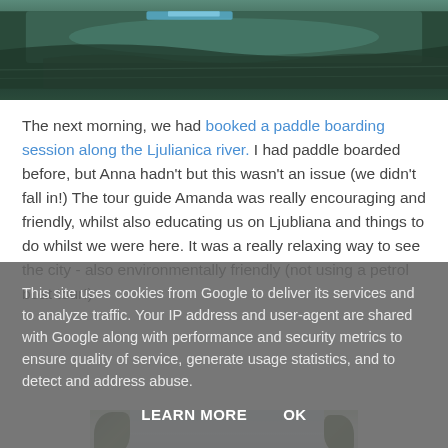[Figure (photo): Partial photo of water/river surface with reflections, cropped at top of page]
The next morning, we had booked a paddle boarding session along the Ljulianica river. I had paddle boarded before, but Anna hadn't but this wasn't an issue (we didn't fall in!) The tour guide Amanda was really encouraging and friendly, whilst also educating us on Ljubliana and things to do whilst we were here. It was a really relaxing way to see the city - also environmentally friendly (not using a petrol boat tour!)
[Figure (photo): Partial photo of trees and sky, partially obscured by overlay]
This site uses cookies from Google to deliver its services and to analyze traffic. Your IP address and user-agent are shared with Google along with performance and security metrics to ensure quality of service, generate usage statistics, and to detect and address abuse.
LEARN MORE    OK